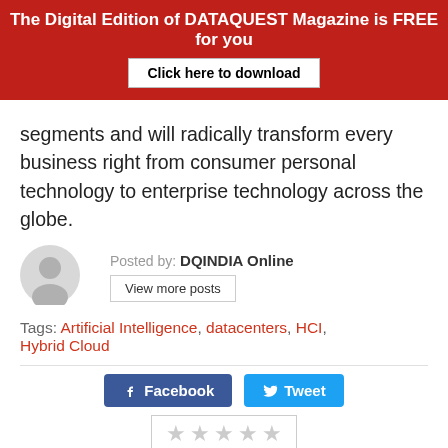The Digital Edition of DATAQUEST Magazine is FREE for you
Click here to download
segments and will radically transform every business right from consumer personal technology to enterprise technology across the globe.
Posted by: DQINDIA Online
View more posts
Tags: Artificial Intelligence, datacenters, HCI, Hybrid Cloud